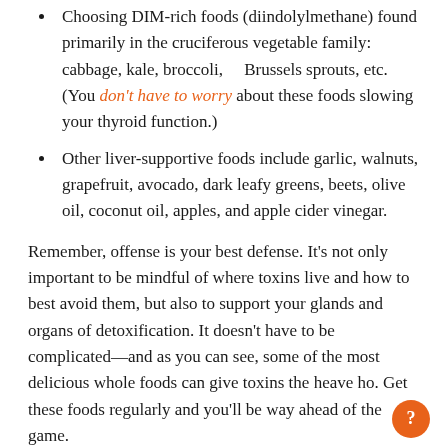Choosing DIM-rich foods (diindolylmethane) found primarily in the cruciferous vegetable family: cabbage, kale, broccoli, Brussels sprouts, etc. (You don't have to worry about these foods slowing your thyroid function.)
Other liver-supportive foods include garlic, walnuts, grapefruit, avocado, dark leafy greens, beets, olive oil, coconut oil, apples, and apple cider vinegar.
Remember, offense is your best defense. It's not only important to be mindful of where toxins live and how to best avoid them, but also to support your glands and organs of detoxification. It doesn't have to be complicated—and as you can see, some of the most delicious whole foods can give toxins the heave ho. Get these foods regularly and you'll be way ahead of the game.